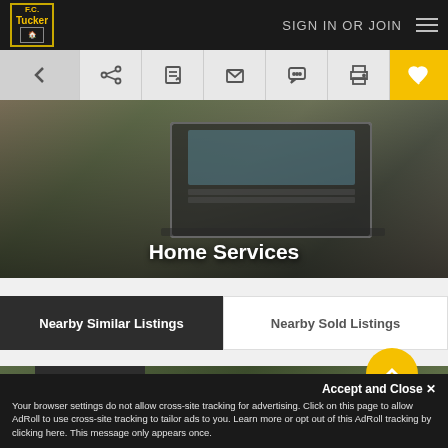F.C. Tucker | SIGN IN OR JOIN
[Figure (screenshot): Toolbar with back, share, edit, email, chat, print, and favorite (heart) icon buttons]
[Figure (photo): Hero image of a laptop on a desk with office supplies, overlaid with text 'Home Services']
Home Services
Nearby Similar Listings | Nearby Sold Listings
ACTIVE
Accept and Close ✕
Your browser settings do not allow cross-site tracking for advertising. Click on this page to allow AdRoll to use cross-site tracking to tailor ads to you. Learn more or opt out of this AdRoll tracking by clicking here. This message only appears once.